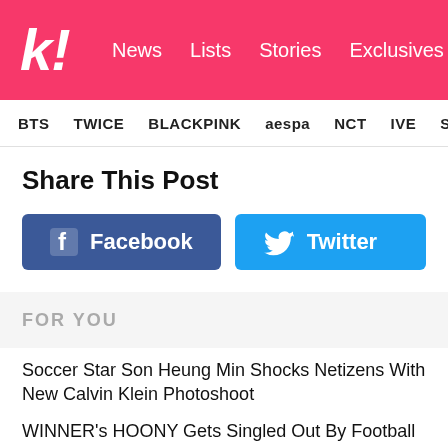k! News Lists Stories Exclusives
BTS TWICE BLACKPINK aespa NCT IVE SHIN
Share This Post
[Figure (infographic): Facebook and Twitter share buttons]
FOR YOU
Soccer Star Son Heung Min Shocks Netizens With New Calvin Klein Photoshoot
WINNER's HOONY Gets Singled Out By Football Club Tottenham Hotspur—Here's Proof That He's The Most Successful Fan...